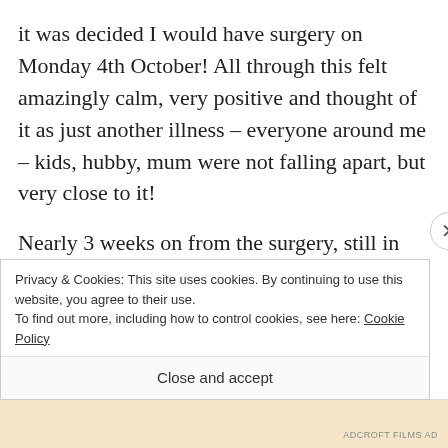it was decided I would have surgery on Monday 4th October! All through this felt amazingly calm, very positive and thought of it as just another illness – everyone around me – kids, hubby, mum were not falling apart, but very close to it!
Nearly 3 weeks on from the surgery, still in the main, very calm but now waiting for the
Privacy & Cookies: This site uses cookies. By continuing to use this website, you agree to their use.
To find out more, including how to control cookies, see here: Cookie Policy
Close and accept